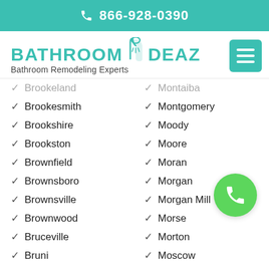☎ 866-928-0390
[Figure (logo): Bathroom Ideaz logo with shower icon and tagline 'Bathroom Remodeling Experts']
Brookeland
Brookesmith
Brookshire
Brookston
Brownfield
Brownsboro
Brownsville
Brownwood
Bruceville
Bruni
Bryan
Montaiba
Montgomery
Moody
Moore
Moran
Morgan
Morgan Mill
Morse
Morton
Moscow
Moulton